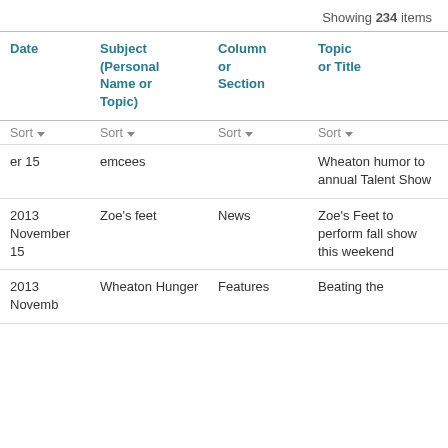Showing 234 items
| Date | Subject (Personal Name or Topic) | Column or Section | Topic or Title |
| --- | --- | --- | --- |
| (Sort) | (Sort) | (Sort) | (Sort) |
| er 15 | emcees |  | Wheaton humor to annual Talent Show |
| 2013 November 15 | Zoe's feet | News | Zoe's Feet to perform fall show this weekend |
| 2013 Novemb | Wheaton Hunger | Features | Beating the |